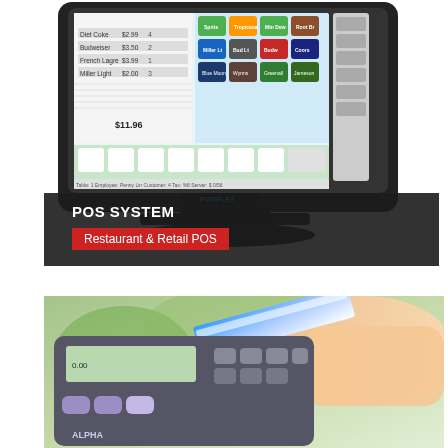[Figure (photo): A black touchscreen POS terminal (Posiflex brand) displaying a restaurant/retail point-of-sale software interface with a beverage menu showing drink brand icons and a transaction order list with total $11.96. The terminal is mounted on a black stand.]
POS SYSTEM
Restaurant & Retail POS
[Figure (photo): Close-up photo of a handheld calculator or payment device with purple and gray keys, showing 'ALPHA' label, with a blue and white stylus or card being swiped.]